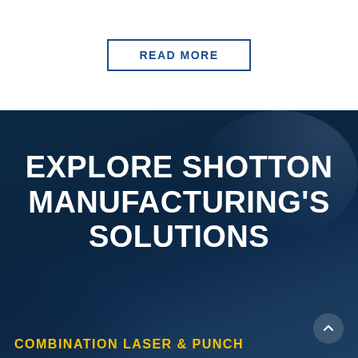READ MORE
EXPLORE SHOTTON MANUFACTURING'S SOLUTIONS
COMBINATION LASER & PUNCH